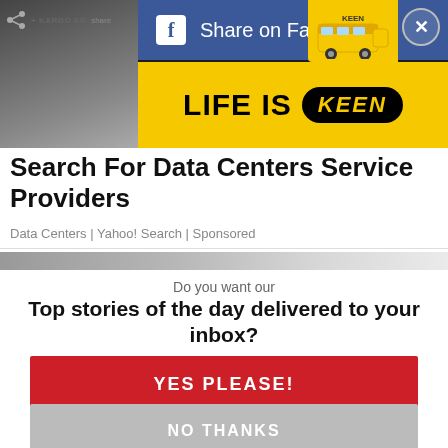[Figure (screenshot): Ad bar with Kargo share icon and Facebook share button on dark background, with KEEN 'LIFE IS KEEN' yellow banner ad and school bus illustration. Close (X) button in top right.]
[Figure (photo): Partial grayscale photo background strip on left and bottom of ad area]
Search For Data Centers Service Providers
Data Centers | Yahoo! Search | Sponsored
Do you want our
Top stories of the day delivered to your inbox?
YES PLEASE!
NO THANKS